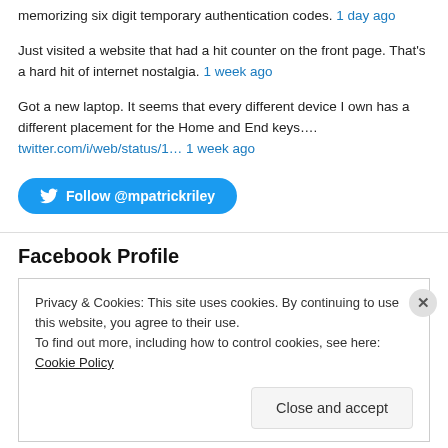memorizing six digit temporary authentication codes. 1 day ago
Just visited a website that had a hit counter on the front page. That's a hard hit of internet nostalgia. 1 week ago
Got a new laptop. It seems that every different device I own has a different placement for the Home and End keys…. twitter.com/i/web/status/1… 1 week ago
[Figure (other): Twitter Follow button: Follow @mpatrickriley]
Facebook Profile
Privacy & Cookies: This site uses cookies. By continuing to use this website, you agree to their use.
To find out more, including how to control cookies, see here: Cookie Policy
Close and accept